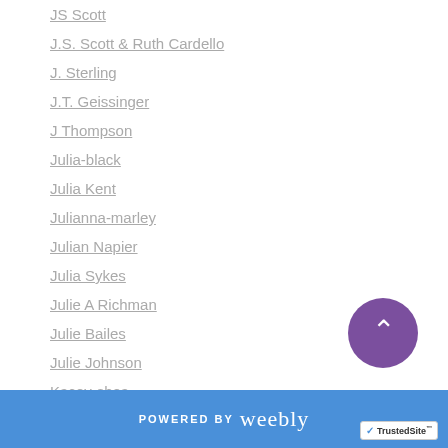JS Scott
J.S. Scott & Ruth Cardello
J. Sterling
J.T. Geissinger
J Thompson
Julia-black
Julia Kent
Julianna-marley
Julian Napier
Julia Sykes
Julie A Richman
Julie Bailes
Julie Johnson
Kacey-shea
Kaithlin-shepherd
K.A. Linde
Kandi-steiner
POWERED BY weebly